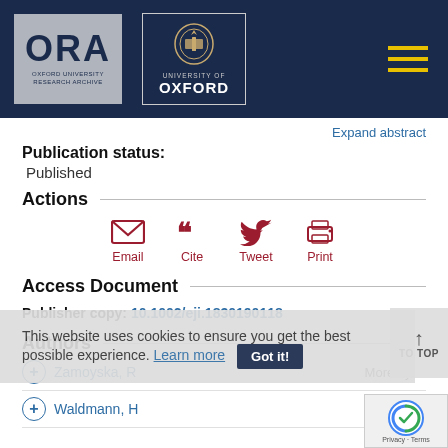[Figure (logo): ORA Oxford University Research Archive logo and University of Oxford crest logo on dark navy header bar with hamburger menu icon]
Expand abstract
Publication status:
Published
Actions
Email
Cite
Tweet
Print
Access Document
Publisher copy: 10.1002/eji.1830190118
Authors
Zamoyska, R   More by th
Waldmann, H   More by th
This website uses cookies to ensure you get the best possible experience. Learn more  Got it!